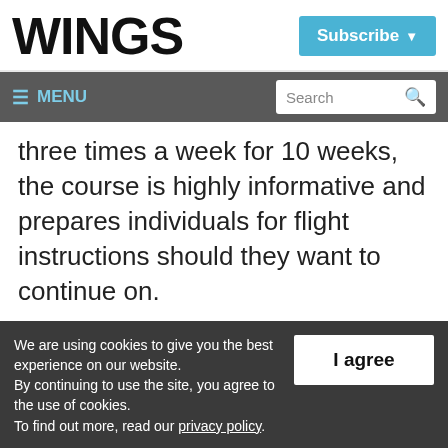WINGS
Subscribe
≡ MENU  Search
three times a week for 10 weeks, the course is highly informative and prepares individuals for flight instructions should they want to continue on.
We are using cookies to give you the best experience on our website. By continuing to use the site, you agree to the use of cookies. To find out more, read our privacy policy.